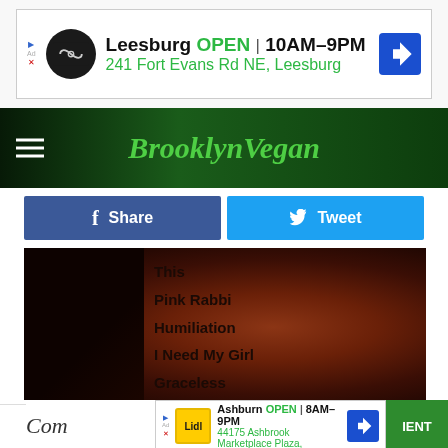[Figure (screenshot): Advertisement banner: Lidl Leesburg store, OPEN 10AM-9PM, 241 Fort Evans Rd NE, Leesburg, with Lidl logo and navigation arrow icon]
[Figure (logo): BrooklynVegan website logo in green italic font on dark green navigation bar with hamburger menu icon]
[Figure (other): Facebook Share button (blue) and Twitter Tweet button (cyan/blue)]
[Figure (photo): Photo of a vinyl record or album liner with track listing visible: This [cut off], Pink Rabb[it cut off], Humiliation, I Need My Girl, Graceless, Terrible Love]
FILED UNDER: BRYCE DESSNER, PUBLIC ASSEMBLY, SYCAMORE, THE NATIONAL
CATEGORIES: MUSIC NEWS, PHOTO GALLERIES
[Figure (screenshot): Advertisement banner: Lidl Ashburn store, OPEN 8AM-9PM, 44175 Ashbrook Marketplace Plaza, with Lidl logo and navigation arrow]
Com[ment section partially visible] IENT